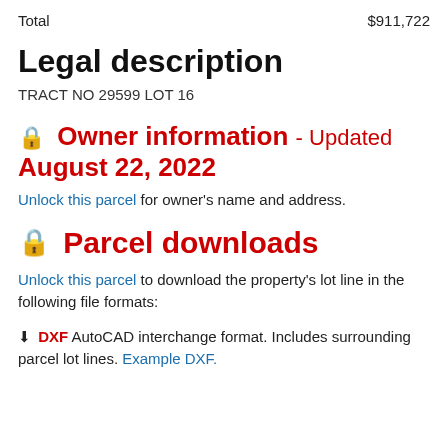Total    $911,722
Legal description
TRACT NO 29599 LOT 16
🔒 Owner information - Updated August 22, 2022
Unlock this parcel for owner's name and address.
🔒 Parcel downloads
Unlock this parcel to download the property's lot line in the following file formats:
⬇ DXF AutoCAD interchange format. Includes surrounding parcel lot lines. Example DXF.